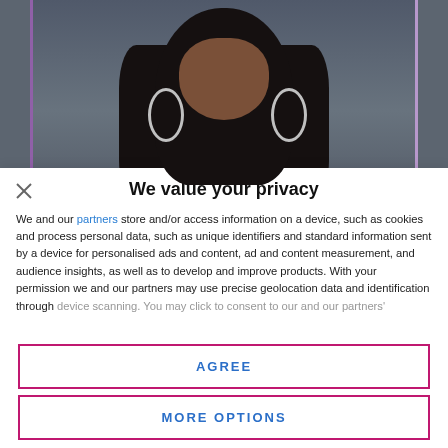[Figure (photo): Photo of a woman with long dark hair and large hoop earrings against a dark gray background, partially visible behind a privacy consent modal overlay]
We value your privacy
We and our partners store and/or access information on a device, such as cookies and process personal data, such as unique identifiers and standard information sent by a device for personalised ads and content, ad and content measurement, and audience insights, as well as to develop and improve products. With your permission we and our partners may use precise geolocation data and identification through device scanning. You may click to consent to our and our partners'
AGREE
MORE OPTIONS